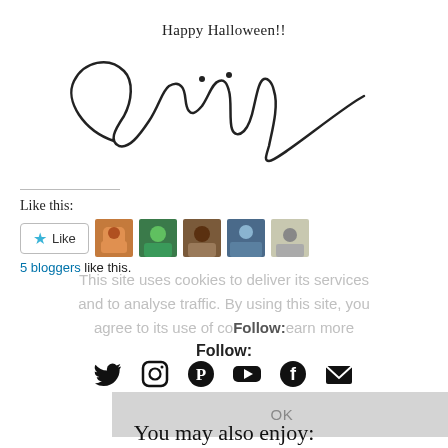Happy Halloween!!
[Figure (illustration): Cursive handwritten signature reading 'Caitlin']
Like this:
[Figure (other): Like button with star icon and 5 blogger avatar thumbnails]
5 bloggers like this.
This site uses cookies to deliver its services and to analyse traffic. By using this site, you agree to its use of cookies. Learn more
Follow:
[Figure (other): Social media icons: Twitter, Instagram, Pinterest, YouTube, Facebook, Email]
OK
You may also enjoy: